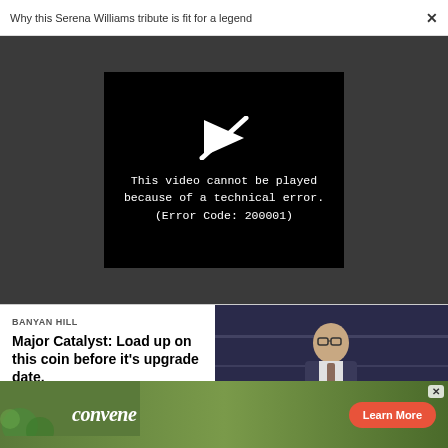Why this Serena Williams tribute is fit for a legend
[Figure (screenshot): Video player showing error message: 'This video cannot be played because of a technical error. (Error Code: 200001)' on black background within dark gray player area]
BANYAN HILL
Major Catalyst: Load up on this coin before it's upgrade date.
[Figure (photo): Man in glasses and vest speaking, advertisement image for Banyan Hill]
[Figure (photo): Banner advertisement for convene with Learn More button and X close button]